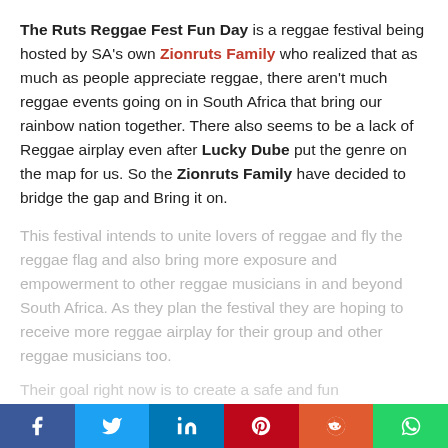The Ruts Reggae Fest Fun Day is a reggae festival being hosted by SA's own Zionruts Family who realized that as much as people appreciate reggae, there aren't much reggae events going on in South Africa that bring our rainbow nation together. There also seems to be a lack of Reggae airplay even after Lucky Dube put the genre on the map for us. So the Zionruts Family have decided to bridge the gap and Bring it on.
This festival intends to unite lovers of reggae and fly the reggae flag and also bring more exposure and empowerment to other reggae musicians in and beyond South Africa. As they plan the festival they are hoping to receive more reggae airplay for their group and other reggae musicians too.
Their goal right now is to create a safe and fun environment